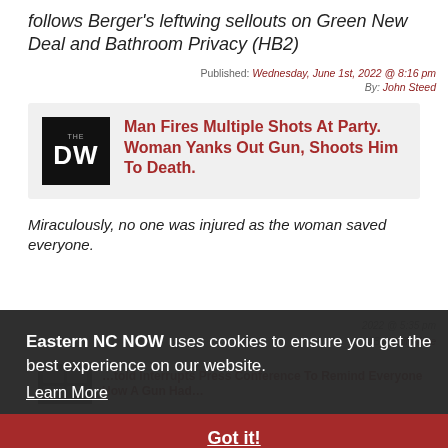follows Berger's leftwing sellouts on Green New Deal and Bathroom Privacy (HB2)
Published: Wednesday, June 1st, 2022 @ 8:16 pm
By: John Steed
[Figure (other): Daily Wire logo and article card: Man Fires Multiple Shots At Party. Woman Yanks Out Gun, Shoots Him To Death.]
Miraculously, no one was injured as the woman saved everyone.
Eastern NC NOW uses cookies to ensure you get the best experience on our website. Learn More
Got it!
As leadership in Texas held a press conference to give